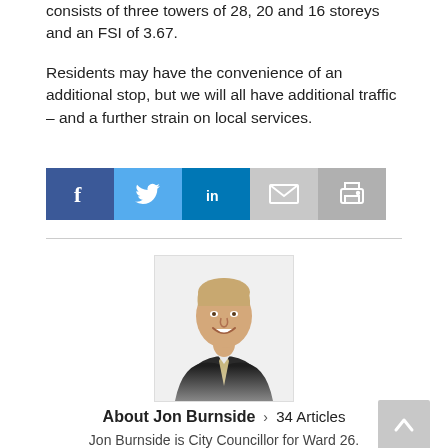consists of three towers of 28, 20 and 16 storeys and an FSI of 3.67.
Residents may have the convenience of an additional stop, but we will all have additional traffic – and a further strain on local services.
[Figure (other): Social sharing buttons: Facebook (f), Twitter (bird icon), LinkedIn (in), Email (envelope icon), Print (printer icon)]
[Figure (photo): Headshot photo of Jon Burnside, a man in a dark suit, smiling, on a white background]
About Jon Burnside > 34 Articles
Jon Burnside is City Councillor for Ward 26.